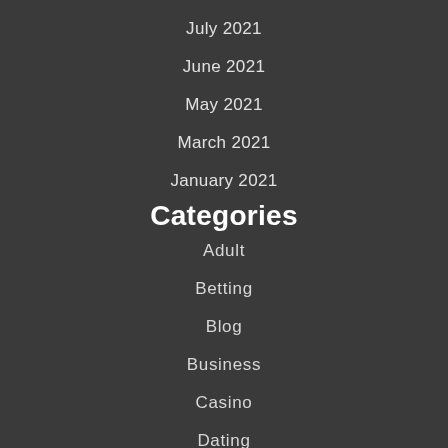July 2021
June 2021
May 2021
March 2021
January 2021
Categories
Adult
Betting
Blog
Business
Casino
Dating